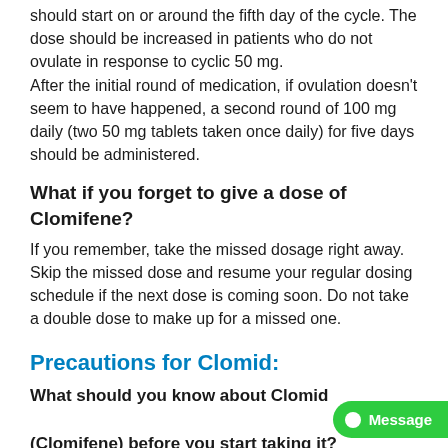should start on or around the fifth day of the cycle. The dose should be increased in patients who do not ovulate in response to cyclic 50 mg. After the initial round of medication, if ovulation doesn't seem to have happened, a second round of 100 mg daily (two 50 mg tablets taken once daily) for five days should be administered.
What if you forget to give a dose of Clomifene?
If you remember, take the missed dosage right away. Skip the missed dose and resume your regular dosing schedule if the next dose is coming soon. Do not take a double dose to make up for a missed one.
Precautions for Clomid:
What should you know about Clomid (Clomifene) before you start taking it?